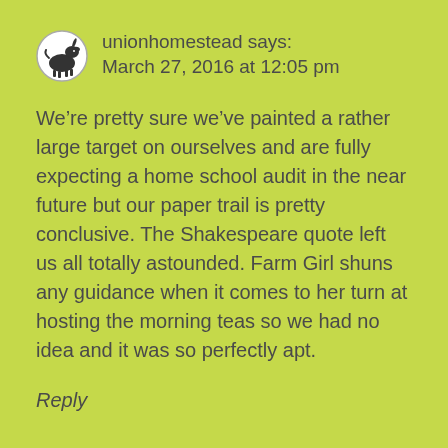unionhomestead says:
March 27, 2016 at 12:05 pm
We’re pretty sure we’ve painted a rather large target on ourselves and are fully expecting a home school audit in the near future but our paper trail is pretty conclusive. The Shakespeare quote left us all totally astounded. Farm Girl shuns any guidance when it comes to her turn at hosting the morning teas so we had no idea and it was so perfectly apt.
Reply